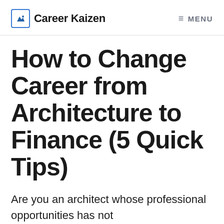Career Kaizen | MENU
How to Change Career from Architecture to Finance (5 Quick Tips)
Are you an architect whose professional opportunities has not